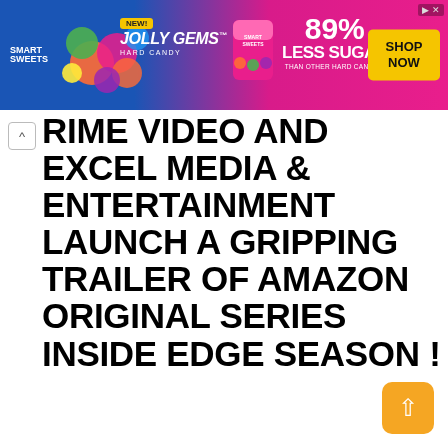[Figure (illustration): Smart Sweets Jolly Gems Hard Candy advertisement banner with colorful candy images, '89% Less Sugar than other hard candies' text, and yellow 'Shop Now' button]
PRIME VIDEO AND EXCEL MEDIA & ENTERTAINMENT LAUNCH A GRIPPING TRAILER OF AMAZON ORIGINAL SERIES INSIDE EDGE SEASON !
₹37.53 ▲
by TIKSHA SAKAT  9 months ago
290 views